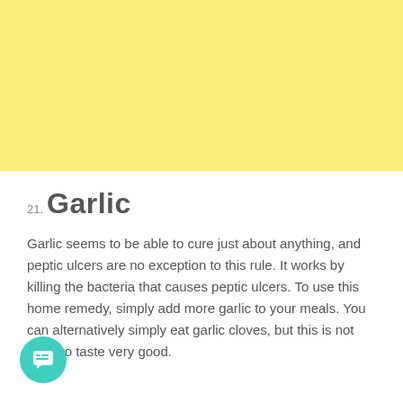[Figure (illustration): Yellow background block filling the top portion of the page]
21. Garlic
Garlic seems to be able to cure just about anything, and peptic ulcers are no exception to this rule. It works by killing the bacteria that causes peptic ulcers. To use this home remedy, simply add more garlic to your meals. You can alternatively simply eat garlic cloves, but this is not likely to taste very good.